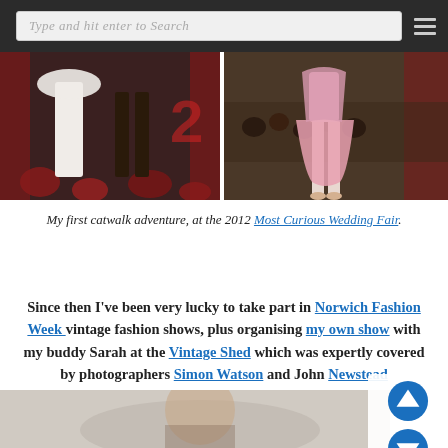Type and hit enter to Search
[Figure (photo): Two fashion show photos side by side: left shows models in white dresses on a dark stage with red decorations; right shows a model in a pink dress on a catwalk with audience in background]
My first catwalk adventure, at the 2012 Most Curious Wedding Fair.
Since then I've been very lucky to take part in Norwich Fashion Week vintage fashion shows, plus organising my own show with my buddy Sarah at the Vintage Shed which was expertly covered by photographers Simon Watson and John Newstead
[Figure (photo): Partial photo at bottom of page, appears to show a person, cropped]
[Figure (other): Scroll up and scroll down navigation buttons (circular blue arrows)]